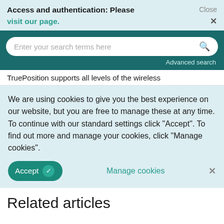Access and authentication: Please visit our page.   Close ×
[Figure (screenshot): Search bar with placeholder text 'Enter your search terms here' and a search icon, on a dark teal background, with 'Advanced search' link below]
TruePosition supports all levels of the wireless
We are using cookies to give you the best experience on our website, but you are free to manage these at any time. To continue with our standard settings click "Accept". To find out more and manage your cookies, click "Manage cookies".
Accept  ✓    Manage cookies    ×
Related articles